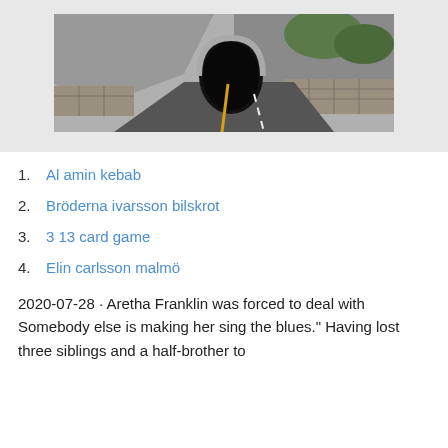[Figure (photo): A winding road leading into a stone tunnel through rocky mountainside terrain, black and white/muted tones.]
Al amin kebab
Bröderna ivarsson bilskrot
3 13 card game
Elin carlsson malmö
2020-07-28 · Aretha Franklin was forced to deal with Somebody else is making her sing the blues." Having lost three siblings and a half-brother to